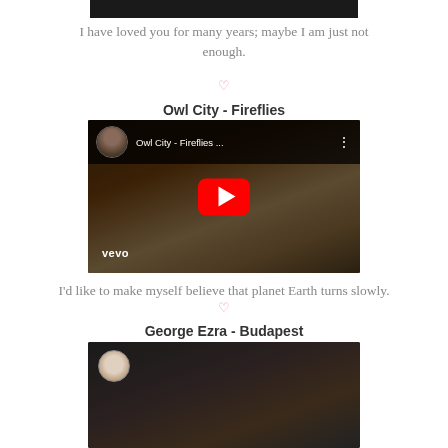[Figure (screenshot): Dark top navigation bar cropped at top of page]
I have loved you for many years; maybe I am just not enough.
[Figure (screenshot): Pink heart divider symbol]
Owl City - Fireflies
[Figure (screenshot): YouTube video embed for Owl City - Fireflies with vevo watermark and red play button]
I'd like to make myself believe that planet Earth turns slowly.
[Figure (screenshot): Pink heart divider symbol]
George Ezra - Budapest
[Figure (screenshot): YouTube video embed for George Ezra - Budapest partially visible at bottom]